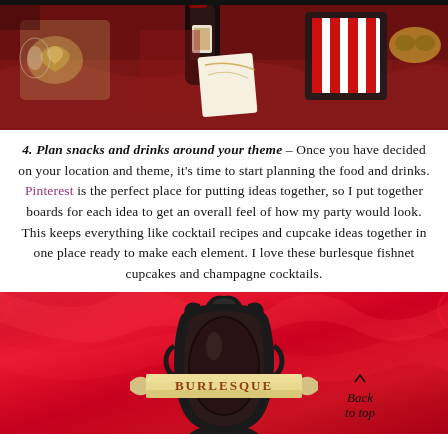[Figure (photo): Party table setup with decorations, wine bottles, masks, and red velvet themed items including gold heart chocolates and striped cards]
4. Plan snacks and drinks around your theme – Once you have decided on your location and theme, it's time to start planning the food and drinks. Pinterest is the perfect place for putting ideas together, so I put together boards for each idea to get an overall feel of how my party would look. This keeps everything like cocktail recipes and cupcake ideas together in one place ready to make each element. I love these burlesque fishnet cupcakes and champagne cocktails.
[Figure (photo): Burlesque themed photo with bright red satin fabric background and ornate black decorative mirror frame with cream ribbon banner reading BURLESQUE. Back to top script in bottom right corner.]